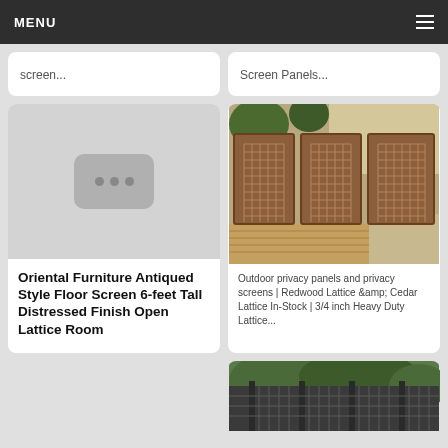MENU
screen...
Screen Panels...
[Figure (photo): Image placeholder with three dots icon]
Oriental Furniture Antiqued Style Floor Screen 6-feet Tall Distressed Finish Open Lattice Room
[Figure (photo): Outdoor wooden lattice privacy panels on a deck patio with redwood/cedar lattice frame construction]
Outdoor privacy panels and privacy screens | Redwood Lattice &amp; Cedar Lattice In-Stock | 3/4 inch Heavy Duty Lattice...
[Figure (photo): Partial view of dark green metal lattice fence or screen panels outdoors]